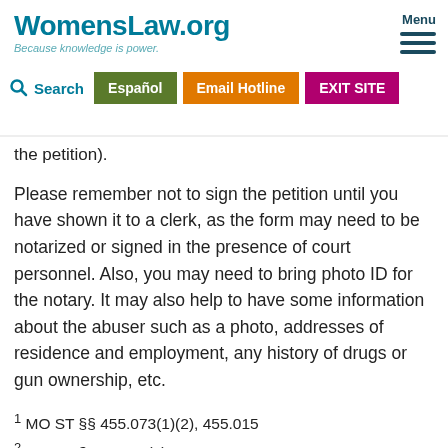WomensLaw.org — Because knowledge is power. Menu | Español | Email Hotline | EXIT SITE | Search
the petition).
Please remember not to sign the petition until you have shown it to a clerk, as the form may need to be notarized or signed in the presence of court personnel. Also, you may need to bring photo ID for the notary. It may also help to have some information about the abuser such as a photo, addresses of residence and employment, any history of drugs or gun ownership, etc.
1 MO ST §§ 455.073(1)(2), 455.015
2 MO ST § 455.030(3)